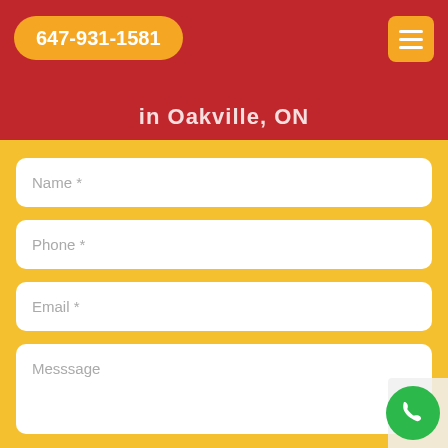647-931-1581
in Oakville, ON
Name *
Phone *
Email *
Messsage